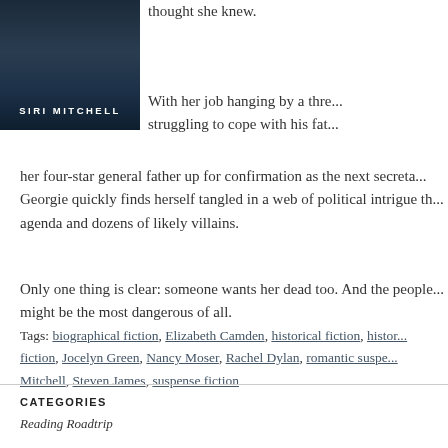[Figure (illustration): Book cover showing 'SIRI MITCHELL' in white bold capital letters on a dark blue/teal background]
thought she knew.

With her job hanging by a thre... struggling to cope with his fat... her four-star general father up for confirmation as the next secreta... Georgie quickly finds herself tangled in a web of political intrigue th... agenda and dozens of likely villains.

Only one thing is clear: someone wants her dead too. And the people... might be the most dangerous of all.
Tags: biographical fiction, Elizabeth Camden, historical fiction, histor... fiction, Jocelyn Green, Nancy Moser, Rachel Dylan, romantic suspe... Mitchell, Steven James, suspense fiction
CATEGORIES
Reading Roadtrip